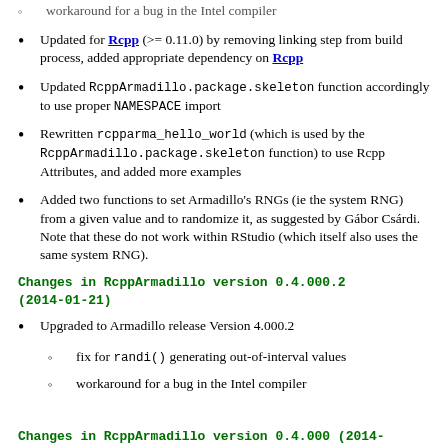workaround for a bug in the Intel compiler (partial, top)
Updated for Rcpp (>= 0.11.0) by removing linking step from build process, added appropriate dependency on Rcpp
Updated RcppArmadillo.package.skeleton function accordingly to use proper NAMESPACE import
Rewritten rcpparma_hello_world (which is used by the RcppArmadillo.package.skeleton function) to use Rcpp Attributes, and added more examples
Added two functions to set Armadillo's RNGs (ie the system RNG) from a given value and to randomize it, as suggested by Gábor Csárdi. Note that these do not work within RStudio (which itself also uses the same system RNG).
Changes in RcppArmadillo version 0.4.000.2 (2014-01-21)
Upgraded to Armadillo release Version 4.000.2
fix for randi() generating out-of-interval values
workaround for a bug in the Intel compiler
Changes in RcppArmadillo version 0.4.000 (2014-...